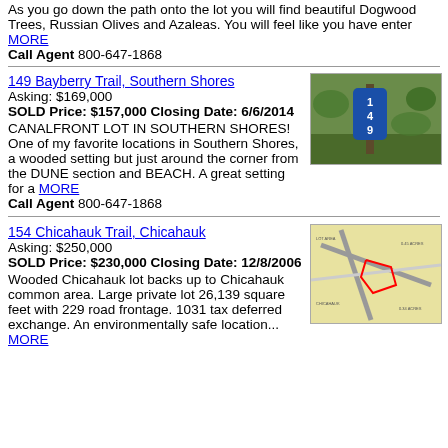As you go down the path onto the lot you will find beautiful Dogwood Trees, Russian Olives and Azaleas. You will feel like you have enter MORE
Call Agent 800-647-1868
149 Bayberry Trail, Southern Shores
Asking: $169,000
SOLD Price: $157,000 Closing Date: 6/6/2014
CANALFRONT LOT IN SOUTHERN SHORES! One of my favorite locations in Southern Shores, a wooded setting but just around the corner from the DUNE section and BEACH. A great setting for a MORE
Call Agent 800-647-1868
[Figure (photo): Sign post marked 149 in blue in a wooded green area]
154 Chicahauk Trail, Chicahauk
Asking: $250,000
SOLD Price: $230,000 Closing Date: 12/8/2006
Wooded Chicahauk lot backs up to Chicahauk common area. Large private lot 26,139 square feet with 229 road frontage. 1031 tax deferred exchange. An environmentally safe location... MORE
[Figure (map): Aerial/plat map showing lot at 154 Chicahauk Trail with red boundary markings on yellow background]